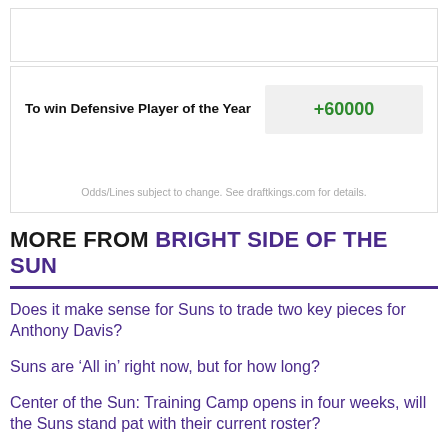| To win Defensive Player of the Year |  |
| --- | --- |
| To win Defensive Player of the Year | +60000 |
Odds/Lines subject to change. See draftkings.com for details.
MORE FROM BRIGHT SIDE OF THE SUN
Does it make sense for Suns to trade two key pieces for Anthony Davis?
Suns are ‘All in’ right now, but for how long?
Center of the Sun: Training Camp opens in four weeks, will the Suns stand pat with their current roster?
Big Leap for the Suns to win a ring, Part 4: Cameron Payne to top backup point guard in the NBA?
Monty Williams on Ayton and handling the KD rumors: “I